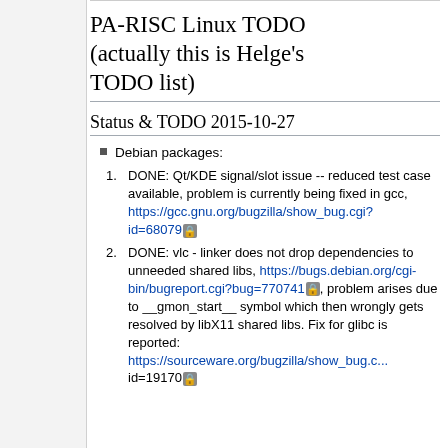PA-RISC Linux TODO (actually this is Helge's TODO list)
Status & TODO 2015-10-27
Debian packages:
DONE: Qt/KDE signal/slot issue -- reduced test case available, problem is currently being fixed in gcc, https://gcc.gnu.org/bugzilla/show_bug.cgi?id=68079
DONE: vlc - linker does not drop dependencies to unneeded shared libs, https://bugs.debian.org/cgi-bin/bugreport.cgi?bug=770741, problem arises due to __gmon_start__ symbol which then wrongly gets resolved by libX11 shared libs. Fix for glibc is reported: https://sourceware.org/bugzilla/show_bug.cgi?id=19170